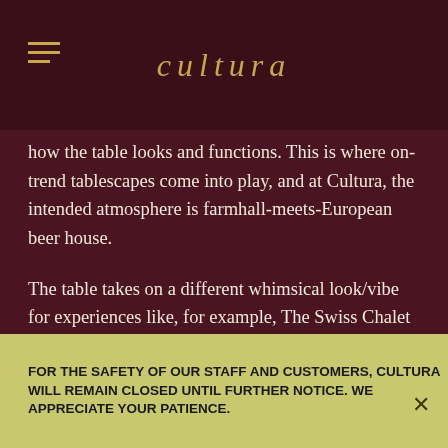CULTURA
how the table looks and functions. This is where on-trend tablescapes come into play, and at Cultura, the intended atmosphere is farmhall-meets-European beer house.
The table takes on a different whimsical look/vibe for experiences like, for example, The Swiss Chalet (fondue in a bread bowl); Bucket of Birds (smoked and fried chicken and quail); The Country Club (steak and lobster on a fancy silver platter); Racks on Racks on Racks (baby back ribs on wood) and the Charleston No.
FOR THE SAFETY OF OUR STAFF AND CUSTOMERS, CULTURA WILL REMAIN CLOSED UNTIL FURTHER NOTICE. WE APPRECIATE YOUR PATIENCE.